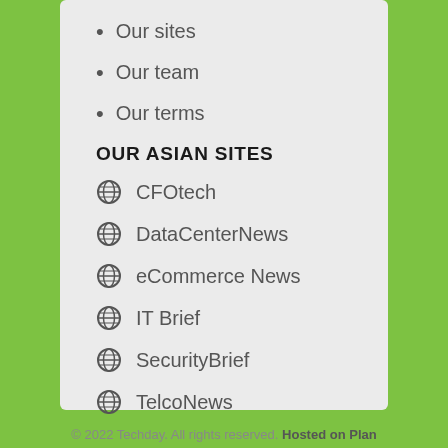Our sites
Our team
Our terms
OUR ASIAN SITES
CFOtech
DataCenterNews
eCommerce News
IT Brief
SecurityBrief
TelcoNews
© 2022 Techday. All rights reserved. Hosted on Plan